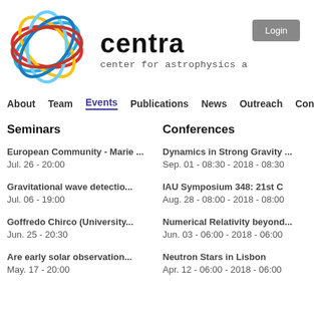[Figure (logo): CENTRA logo: overlapping colored ellipses in blue, red, yellow, and light blue forming a sphere-like shape]
centra
center for astrophysics a
Login
About   Team   Events   Publications   News   Outreach   Con
Seminars
Conferences
European Community - Marie ...
Jul. 26 - 20:00
Dynamics in Strong Gravity
Sep. 01 - 08:30 - 2018 - 08:30
Gravitational wave detectio...
Jul. 06 - 19:00
IAU Symposium 348: 21st C
Aug. 28 - 08:00 - 2018 - 08:00
Goffredo Chirco (University...
Jun. 25 - 20:30
Numerical Relativity beyond
Jun. 03 - 06:00 - 2018 - 06:00
Are early solar observation...
May. 17 - 20:00
Neutron Stars in Lisbon
Apr. 12 - 06:00 - 2018 - 06:00